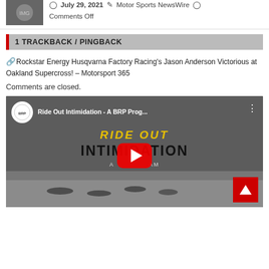July 29, 2021  Motor Sports NewsWire  Comments Off
1 TRACKBACK / PINGBACK
Rockstar Energy Husqvarna Factory Racing's Jason Anderson Victorious at Oakland Supercross! – Motorsport 365
Comments are closed.
[Figure (screenshot): YouTube video embed: Ride Out Intimidation - A BRP Prog... with play button overlay, BRP logo, and snowmobile scene in background]